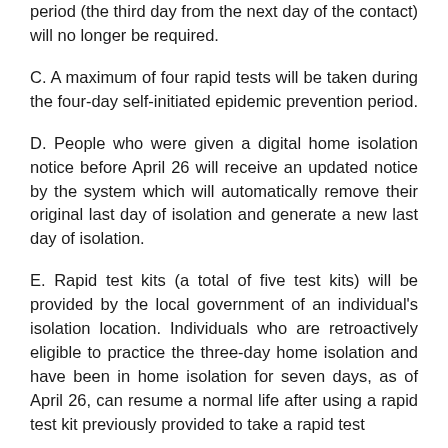period (the third day from the next day of the contact) will no longer be required.
C. A maximum of four rapid tests will be taken during the four-day self-initiated epidemic prevention period.
D. People who were given a digital home isolation notice before April 26 will receive an updated notice by the system which will automatically remove their original last day of isolation and generate a new last day of isolation.
E. Rapid test kits (a total of five test kits) will be provided by the local government of an individual's isolation location. Individuals who are retroactively eligible to practice the three-day home isolation and have been in home isolation for seven days, as of April 26, can resume a normal life after using a rapid test kit previously provided to take a rapid test